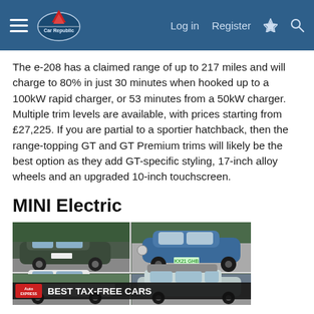Car Republic — Log in  Register
The e-208 has a claimed range of up to 217 miles and will charge to 80% in just 30 minutes when hooked up to a 100kW rapid charger, or 53 minutes from a 50kW charger. Multiple trim levels are available, with prices starting from £27,225. If you are partial to a sportier hatchback, then the range-topping GT and GT Premium trims will likely be the best option as they add GT-specific styling, 17-inch alloy wheels and an upgraded 10-inch touchscreen.
MINI Electric
[Figure (photo): Collage of electric cars including a Kia e-Niro, a blue MINI Electric, a saloon car, and an SUV with a roof box. Overlaid text reads 'Auto Express BEST TAX-FREE CARS'.]